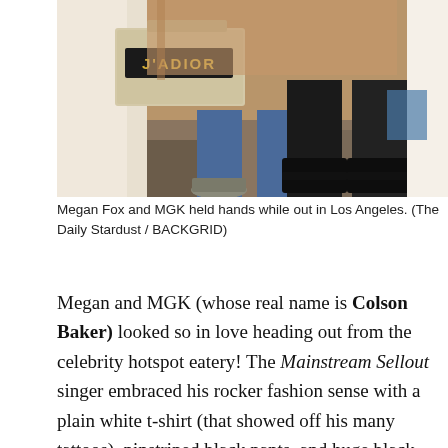[Figure (photo): Photo of Megan Fox and MGK's lower bodies – Megan Fox holding a J'ADIOR Dior clutch bag, wearing white outfit, MGK in dark pants and black platform boots, photographed outdoors in Los Angeles.]
Megan Fox and MGK held hands while out in Los Angeles. (The Daily Stardust / BACKGRID)
Megan and MGK (whose real name is Colson Baker) looked so in love heading out from the celebrity hotspot eatery! The Mainstream Sellout singer embraced his rocker fashion sense with a plain white t-shirt (that showed off his many tattoos), pinstriped black pants, and huge black boots. He accessorized with a pair of black sunglasses and a chain necklace. The most eye-catching part of his